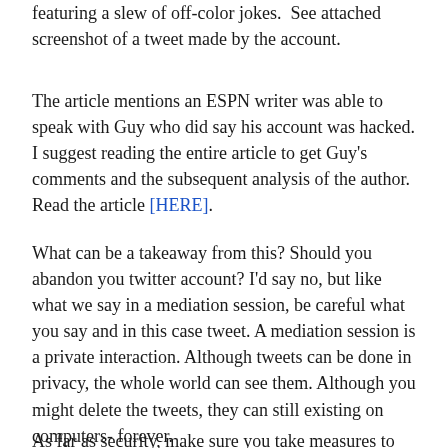featuring a slew of off-color jokes.  See attached screenshot of a tweet made by the account.
The article mentions an ESPN writer was able to speak with Guy who did say his account was hacked. I suggest reading the entire article to get Guy's comments and the subsequent analysis of the author. Read the article [HERE].
What can be a takeaway from this? Should you abandon you twitter account? I'd say no, but like what we say in a mediation session, be careful what you say and in this case tweet. A mediation session is a private interaction. Although tweets can be done in privacy, the whole world can see them. Although you might delete the tweets, they can still existing on computers- forever.
As far as security, make sure you take measures to